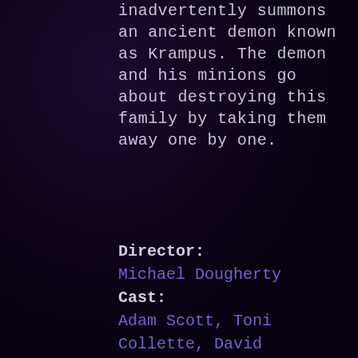inadvertently summons an ancient demon known as Krampus. The demon and his minions go about destroying this family by taking them away one by one.
Director: Michael Dougherty Cast: Adam Scott, Toni Collette, David Koechner, Emjay Anthony, Stefania LaVie Owen, Krista Stadler, Conchata Ferrell, Maverick Flack